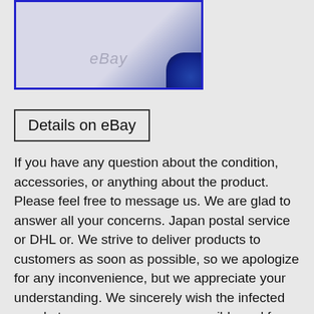[Figure (photo): Product photo with eBay watermark and blue globe graphic, blue border]
Details on eBay
If you have any question about the condition, accessories, or anything about the product. Please feel free to message us. We are glad to answer all your concerns. Japan postal service or DHL or. We strive to deliver products to customers as soon as possible, so we apologize for any inconvenience, but we appreciate your understanding. We sincerely wish the infected people to recover as soon as possible and for their safety. We sell our